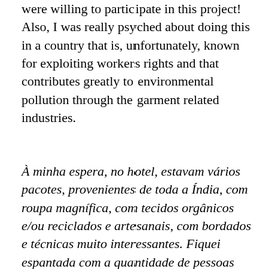were willing to participate in this project! Also, I was really psyched about doing this in a country that is, unfortunately, known for exploiting workers rights and that contributes greatly to environmental pollution through the garment related industries.
À minha espera, no hotel, estavam vários pacotes, provenientes de toda a Índia, com roupa magnífica, com tecidos orgânicos e/ou reciclados e artesanais, com bordados e técnicas muito interessantes. Fiquei espantada com a quantidade de pessoas que não me conhecia de lado nenhum e que alinharam neste projeto. Fiquei super motivada por poder